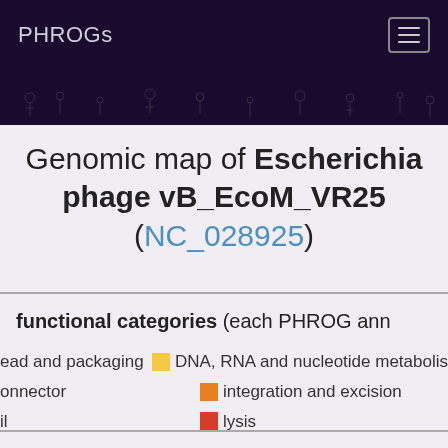PHROGs
Genomic map of Escherichia phage vB_EcoM_VR25 (NC_028925)
functional categories (each PHROG ann...
head and packaging | DNA, RNA and nucleotide metabolism
connector | integration and excision
tail | lysis